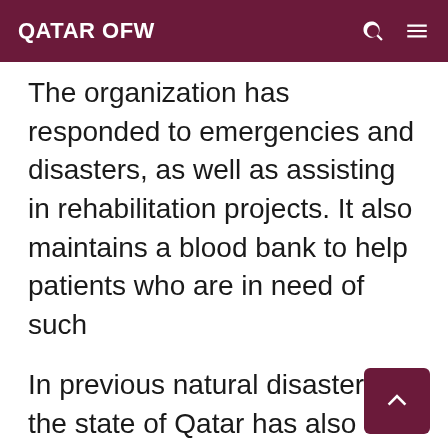QATAR OFW
The organization has responded to emergencies and disasters, as well as assisting in rehabilitation projects. It also maintains a blood bank to help patients who are in need of such
In previous natural disasters, the state of Qatar has also sent assistance to the Philippines.